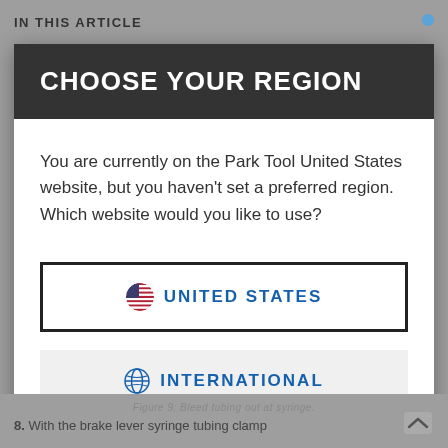IN THIS ARTICLE
CHOOSE YOUR REGION
You are currently on the Park Tool United States website, but you haven't set a preferred region. Which website would you like to use?
UNITED STATES
INTERNATIONAL
Figure 9: Bleed tubing out at syringe.
8. With the brake lever syringe tubing clamp